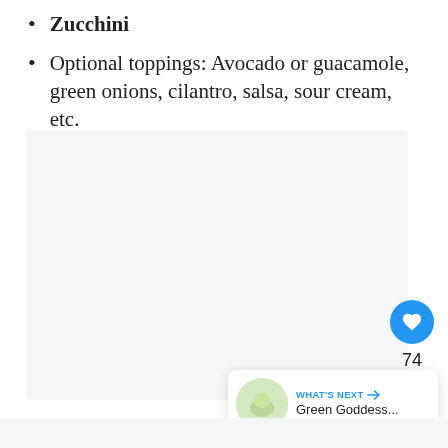Zucchini
Optional toppings: Avocado or guacamole, green onions, cilantro, salsa, sour cream, etc.
[Figure (photo): Large light gray placeholder image area for a recipe photo]
[Figure (screenshot): What's Next panel showing Green Goddess... recipe thumbnail with heart and share buttons]